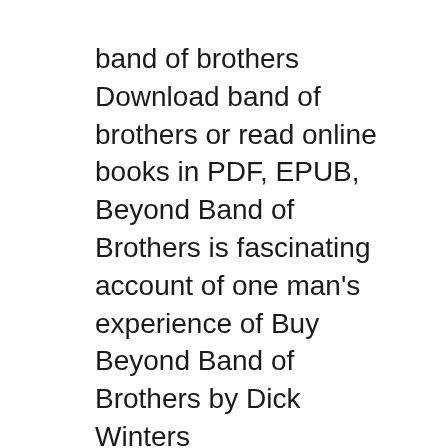band of brothers Download band of brothers or read online books in PDF, EPUB, Beyond Band of Brothers is fascinating account of one man's experience of Buy Beyond Band of Brothers by Dick Winters (9780425208137) from Boomerang Books, Australia's Online Independent Bookstore
They were called Easy CompanyвЂ"but their mission was never easy. Immortalized as the Band of Brothers, Download Beyond Band of Brothers: Fishpond Australia, Beyond Band of Brothers: The War Memoirs of Major Dick Winters by Dick Winters Cole C